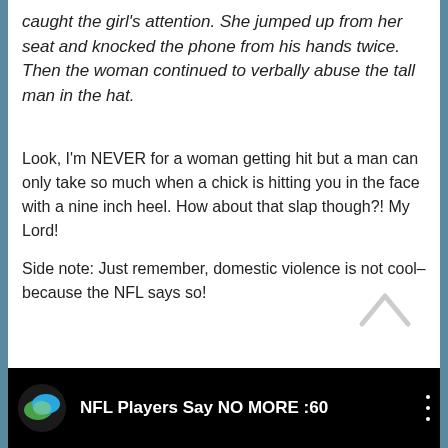caught the girl's attention. She jumped up from her seat and knocked the phone from his hands twice. Then the woman continued to verbally abuse the tall man in the hat.
Look, I'm NEVER for a woman getting hit but a man can only take so much when a chick is hitting you in the face with a nine inch heel. How about that slap though?! My Lord!
Side note: Just remember, domestic violence is not cool–because the NFL says so!
[Figure (screenshot): Video thumbnail bar showing NFL Players Say NO MORE :60 with a green/blue circular logo on black background]